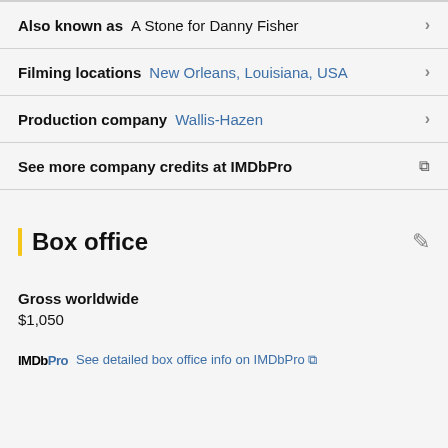Also known as  A Stone for Danny Fisher
Filming locations  New Orleans, Louisiana, USA
Production company  Wallis-Hazen
See more company credits at IMDbPro
Box office
Gross worldwide
$1,050
IMDb Pro  See detailed box office info on IMDbPro